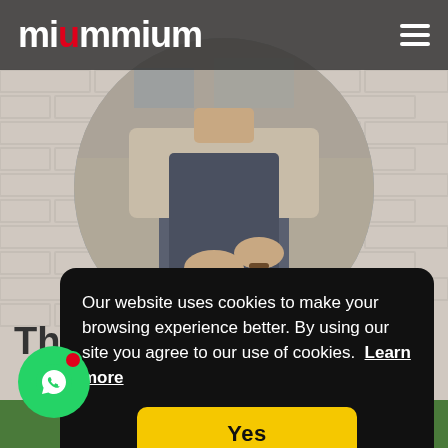[Figure (screenshot): Website screenshot of 'miummium' food/cooking website showing a chef in apron cooking, with a cookie consent banner overlay and WhatsApp chat button]
miummium
[Figure (photo): Circular cropped photo of a man wearing a blue/grey apron, cutting food on a kitchen counter, with bracelets on wrist]
The
Our website uses cookies to make your browsing experience better. By using our site you agree to our use of cookies.  Learn more
Yes